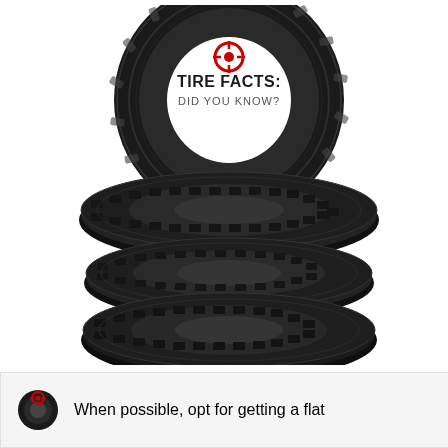[Figure (illustration): Stack of four black car tires. The topmost tire is shown upright (facing viewer) with a red crosshair/target icon and text 'TIRE FACTS: DID YOU KNOW?' displayed inside the tire hole. The other three tires are stacked flat beneath it.]
When possible, opt for getting a flat